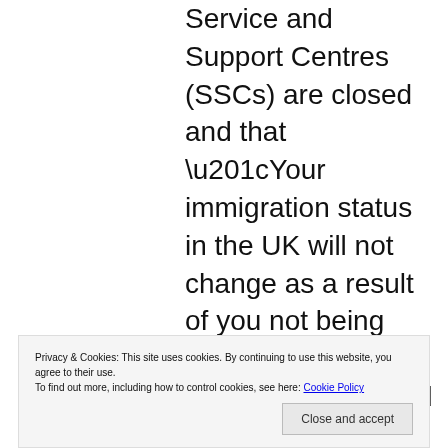Service and Support Centres (SSCs) are closed and that “Your immigration status in the UK will not change as a result of you not being able to attend an appointment.” It’s still possible there may be some variation between the different companies that run different types
Privacy & Cookies: This site uses cookies. By continuing to use this website, you agree to their use.
To find out more, including how to control cookies, see here: Cookie Policy
Close and accept